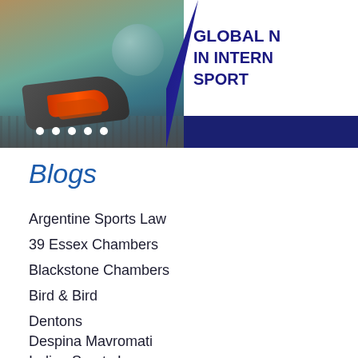[Figure (photo): Banner image showing a soccer cleat/boot with ball on the left side, and bold text 'GLOBAL [something] IN INTERN[ATIONAL] SPORT[S]' on a white right panel with a dark blue bar at the bottom.]
Blogs
Argentine Sports Law
39 Essex Chambers
Blackstone Chambers
Bird & Bird
Dentons
Despina Mavromati
Indian Sports Law